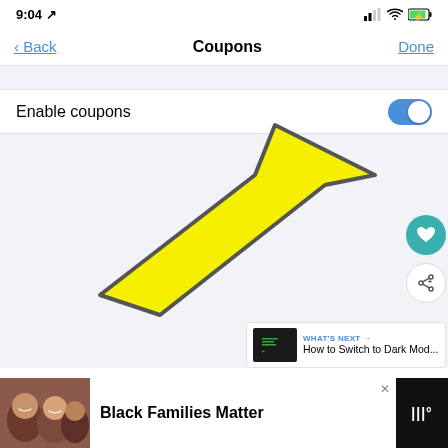[Figure (screenshot): iOS app screenshot showing Coupons settings screen with Enable coupons toggle switched on (blue), a large yellow arrow annotation pointing to the toggle, side action buttons (heart/share), a 'What's Next' card showing 'How to Switch to Dark Mod...', and an advertisement bar at the bottom reading 'Black Families Matter']